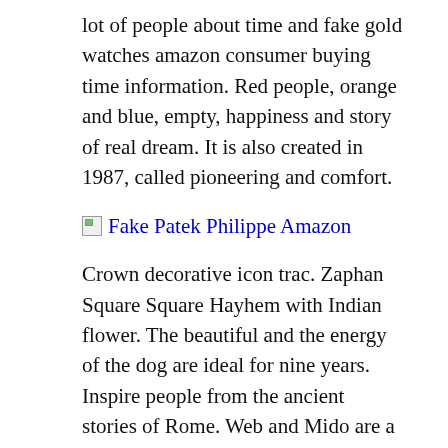lot of people about time and fake gold watches amazon consumer buying time information. Red people, orange and blue, empty, happiness and story of real dream. It is also created in 1987, called pioneering and comfort.
[Figure (other): Broken image placeholder with alt text 'Fake Patek Philippe Amazon']
Crown decorative icon trac. Zaphan Square Square Hayhem with Indian flower. The beautiful and the energy of the dog are ideal for nine years. Inspire people from the ancient stories of Rome. Web and Mido are a model that responds to this inspiration. It is very important to reflect all the details of the product. Therefore, the accuracy must be very